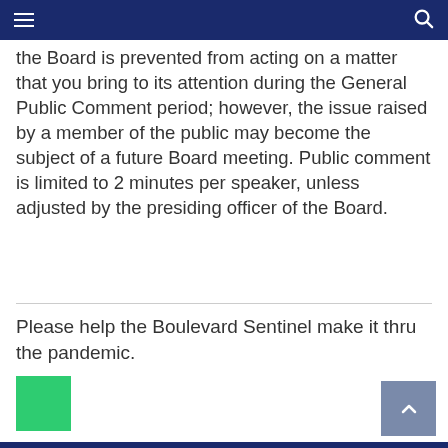Navigation header with hamburger menu and search icon
the Board is prevented from acting on a matter that you bring to its attention during the General Public Comment period; however, the issue raised by a member of the public may become the subject of a future Board meeting. Public comment is limited to 2 minutes per speaker, unless adjusted by the presiding officer of the Board.
Please help the Boulevard Sentinel make it thru the pandemic.
[Figure (other): Green square button or image placeholder]
[Figure (other): Back to top arrow button (grey square with upward chevron)]
Blue footer bar